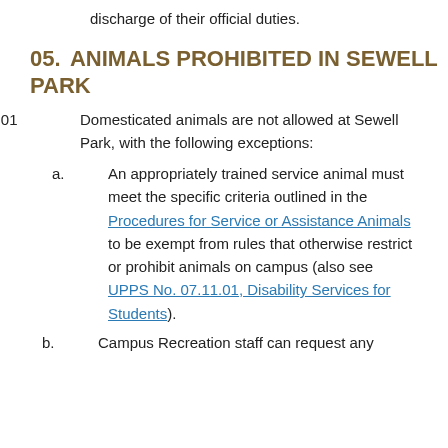discharge of their official duties.
05. ANIMALS PROHIBITED IN SEWELL PARK
05.01 Domesticated animals are not allowed at Sewell Park, with the following exceptions:
a. An appropriately trained service animal must meet the specific criteria outlined in the Procedures for Service or Assistance Animals to be exempt from rules that otherwise restrict or prohibit animals on campus (also see UPPS No. 07.11.01, Disability Services for Students).
b. Campus Recreation staff can request any